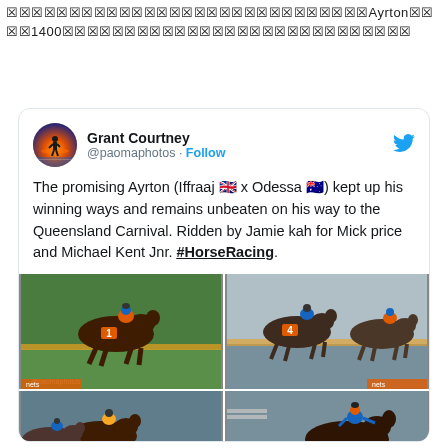🔲🔲🔲🔲🔲🔲🔲🔲🔲🔲🔲🔲🔲🔲🔲🔲🔲🔲🔲🔲🔲🔲🔲🔲🔲🔲🔲🔲🔲Ayrton🔲🔲🔲🔲1400🔲🔲🔲🔲🔲🔲🔲🔲🔲🔲🔲🔲🔲🔲🔲🔲🔲🔲🔲🔲🔲🔲🔲🔲🔲🔲🔲🔲
[Figure (screenshot): Embedded tweet from Grant Courtney (@paomaphotos) with text about horse Ayrton winning, hashtag #HorseRacing, and four horse racing photos in a 2x2 grid.]